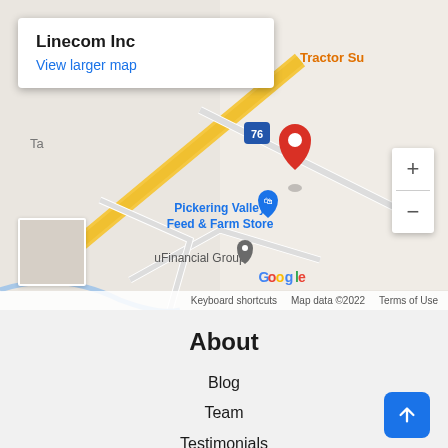[Figure (map): Google Maps screenshot showing Linecom Inc location near Pickering Valley Feed & Farm Store and uFinancial Group, with road 76 visible. Red map pin marks the location. Map data ©2022.]
Linecom Inc
View larger map
About
Blog
Team
Testimonials